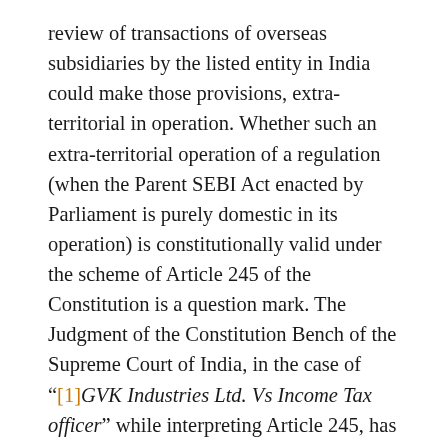review of transactions of overseas subsidiaries by the listed entity in India could make those provisions, extra-territorial in operation. Whether such an extra-territorial operation of a regulation (when the Parent SEBI Act enacted by Parliament is purely domestic in its operation) is constitutionally valid under the scheme of Article 245 of the Constitution is a question mark. The Judgment of the Constitution Bench of the Supreme Court of India, in the case of "[1]GVK Industries Ltd. Vs Income Tax officer" while interpreting Article 245, has held that any law made by Parliament with extra-territorial aspects or causes will be valid only when such extra-territorial aspects have impact on or nexus with India and such nexus with India must be real and not illusory or fanciful. Further, the liberty given by